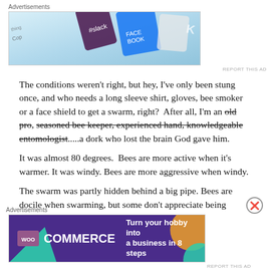Advertisements
[Figure (screenshot): WordPress VIP advertisement banner with Slack and Facebook logos and a Learn more button]
The conditions weren't right, but hey, I've only been stung once, and who needs a long sleeve shirt, gloves, bee smoker or a face shield to get a swarm, right?  After all, I'm an old pro, seasoned bee keeper, experienced hand, knowledgeable entomologist.....a dork who lost the brain God gave him.
It was almost 80 degrees.  Bees are more active when it's warmer. It was windy. Bees are more aggressive when windy.
The swarm was partly hidden behind a big pipe. Bees are docile when swarming, but some don't appreciate being shoved into a
Advertisements
[Figure (screenshot): WooCommerce advertisement banner: Turn your hobby into a business in 8 steps]